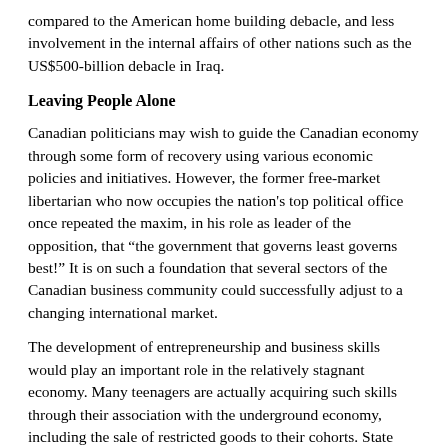compared to the American home building debacle, and less involvement in the internal affairs of other nations such as the US$500-billion debacle in Iraq.
Leaving People Alone
Canadian politicians may wish to guide the Canadian economy through some form of recovery using various economic policies and initiatives. However, the former free-market libertarian who now occupies the nation's top political office once repeated the maxim, in his role as leader of the opposition, that “the government that governs least governs best!” It is on such a foundation that several sectors of the Canadian business community could successfully adjust to a changing international market.
The development of entrepreneurship and business skills would play an important role in the relatively stagnant economy. Many teenagers are actually acquiring such skills through their association with the underground economy, including the sale of restricted goods to their cohorts. State prohibition laws created such opportunities for teenagers to acquire critical business and retail skills through a hands-on approach. Such learning could never have been possible, or been as successful, through formal lessons in the classrooms of state-run schools.